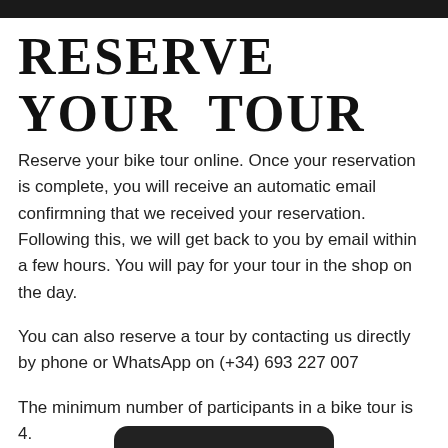Reserve Your Tour
Reserve your bike tour online. Once your reservation is complete, you will receive an automatic email confirmning that we received your reservation. Following this, we will get back to you by email within a few hours. You will pay for your tour in the shop on the day.
You can also reserve a tour by contacting us directly by phone or WhatsApp on (+34) 693 227 007
The minimum number of participants in a bike tour is 4.